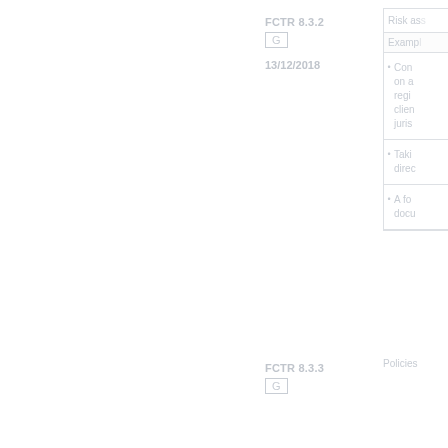FCTR 8.3.2
G
13/12/2018
Risk as[sessment...]
Con[siderations...] on a[...] regi[...] clien[t...] juris[diction...]
Taki[ng...] dire[ction...]
A fo[rmal...] docu[ment...]
FCTR 8.3.3
G
Policies[...]